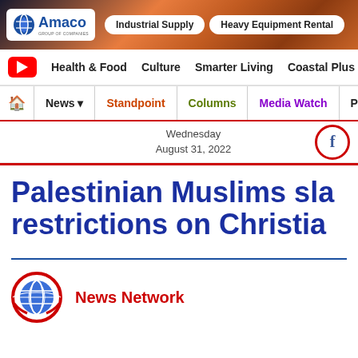[Figure (screenshot): Amaco Group of Companies banner advertisement with Industrial Supply and Heavy Equipment Rental pill buttons, golden city lights background]
Health & Food   Culture   Smarter Living   Coastal Plus   P
News ▾  |  Standpoint  |  Columns  |  Media Watch  |  Polls  |  🔍
Wednesday
August 31, 2022
Palestinian Muslims sla restrictions on Christia
News Network